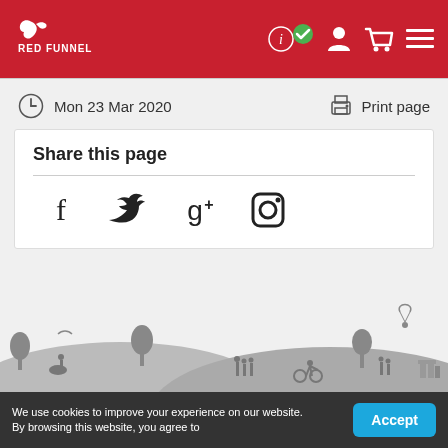Red Funnel
Mon 23 Mar 2020
Print page
Share this page
[Figure (illustration): Social media icons: Facebook, Twitter, Google+, Instagram]
[Figure (illustration): Isle of Wight countryside silhouette landscape with trees, people, cyclist, parachutist]
We use cookies to improve your experience on our website. By browsing this website, you agree to